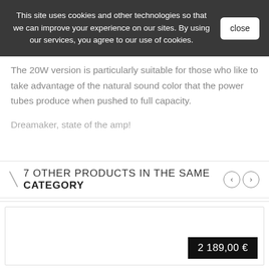This site uses cookies and other technologies so that we can improve your experience on our sites. By using our services, you agree to our use of cookies.
The 20W version is particularly suitable for those who like to take advantage of the natural sound color that the power tubes produce when pushed to full capacity.
Dreamaker, state of the amp!
7 OTHER PRODUCTS IN THE SAME CATEGORY
2 189,00 €